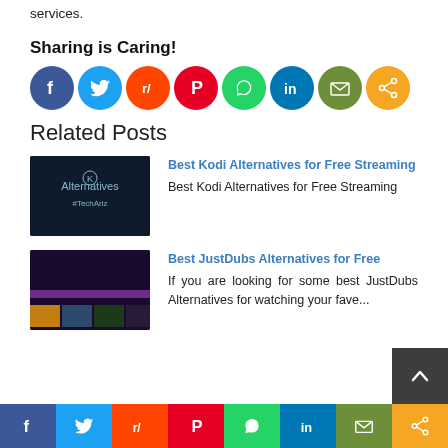services.
Sharing is Caring!
[Figure (infographic): Row of social sharing icon buttons: Facebook (blue), Twitter (light blue), Reddit (orange), Pinterest (red), WhatsApp (green), LinkedIn (dark blue), Email (olive green), Share (orange)]
Related Posts
[Figure (photo): Dark background image with text 'Alternatives #TechAriz' and Kodi logo]
Best Kodi Alternatives for Free Streaming
Best Kodi Alternatives for Free Streaming
[Figure (screenshot): Screenshot of JustDubs website showing anime thumbnails on dark purple/black background]
Best JustDubs Alternatives for Free
If you are looking for some best JustDubs Alternatives for watching your fave...
[Figure (infographic): Bottom sticky social sharing bar with icons: Facebook, Twitter, Reddit, Pinterest, WhatsApp, LinkedIn, Email, Share]